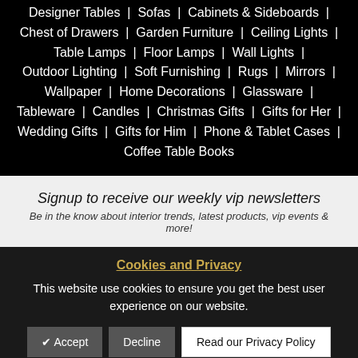Designer Tables | Sofas | Cabinets & Sideboards | Chest of Drawers | Garden Furniture | Ceiling Lights | Table Lamps | Floor Lamps | Wall Lights | Outdoor Lighting | Soft Furnishing | Rugs | Mirrors | Wallpaper | Home Decorations | Glassware | Tableware | Candles | Christmas Gifts | Gifts for Her | Wedding Gifts | Gifts for Him | Phone & Tablet Cases | Coffee Table Books
Signup to receive our weekly vip newsletters
Be in the know about interior trends, latest products, vip events & more!
Cookies and Privacy
This website use cookies to ensure you get the best user experience on our website.
✔ Accept
Decline
Read our Privacy Policy